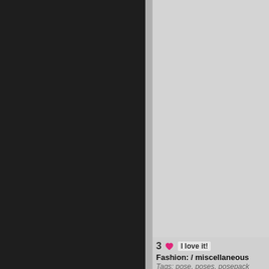[Figure (screenshot): Dark sidebar panel on the left (approximately 242px wide), a thin gray divider, and a white content area on the right showing a partial illustration/image in the upper right corner depicting a figure in an outdoor scene with brown, green, and sky tones.]
3 ❤ I love it!
Fashion: / miscellaneous
Tags: pose, poses, posepack
+ Report broken link